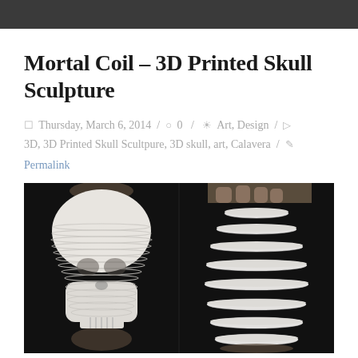[Navigation bar]
Mortal Coil – 3D Printed Skull Sculpture
Thursday, March 6, 2014 / 0 / Art, Design / 3D, 3D Printed Skull Scultpure, 3D skull, art, Calavera / Permalink
[Figure (photo): Two-panel photo of a 3D printed skull sculpture: left panel shows the layered white skull shape held by hands against dark background; right panel shows the same skull exploded into separated horizontal slices, fanned apart to show the layered construction.]